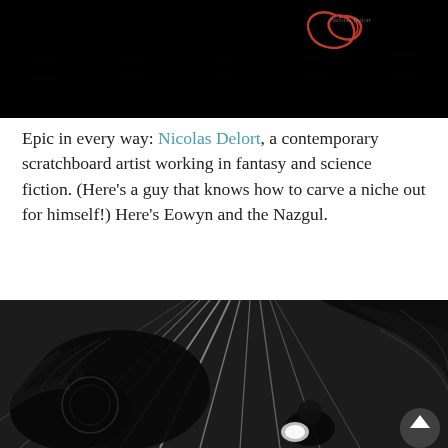[Figure (illustration): Top portion of a dark scratchboard illustration, predominantly black with a decorative red/crimson calligraphic swirl and a small artist signature in the upper right area.]
Epic in every way: Nicolas Delort, a contemporary scratchboard artist working in fantasy and science fiction. (Here’s a guy that knows how to carve a niche out for himself!) Here’s Eowyn and the Nazgul.
[Figure (illustration): Black and white scratchboard illustration showing Eowyn and the Nazgul, a dramatic fantasy scene with dark creature and figure with dynamic radiating lines suggesting motion and energy.]